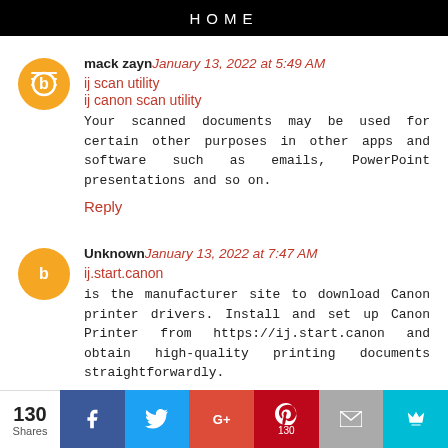HOME
mack zayn January 13, 2022 at 5:49 AM
ij scan utility
ij canon scan utility
Your scanned documents may be used for certain other purposes in other apps and software such as emails, PowerPoint presentations and so on.
Reply
Unknown January 13, 2022 at 7:47 AM
ij.start.canon
is the manufacturer site to download Canon printer drivers. Install and set up Canon Printer from https://ij.start.canon and obtain high-quality printing documents straightforwardly.

https//ij.start.cannon is actually the official site of ij start canon that helps you install the latest printer
130 Shares | Facebook | Twitter | G+ | Pinterest 130 | Email | Crown